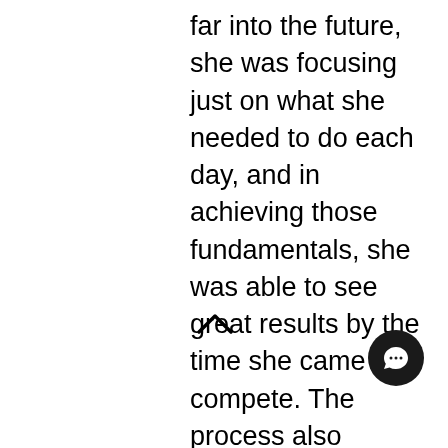far into the future, she was focusing just on what she needed to do each day, and in achieving those fundamentals, she was able to see great results by the time she came to compete. The process also helped inspire others around her. She would often be up at 6am enjoying a cardio session and some much-needed time with her dad. In addition, her friend, to spend time with her, joined the gym, whilst she also found her love of long walks, which she still completes to this day. So what now for Molly. After a [...]us journey of the highs a[...] [...]of bodybuilding, she fou[...] CrossFit.